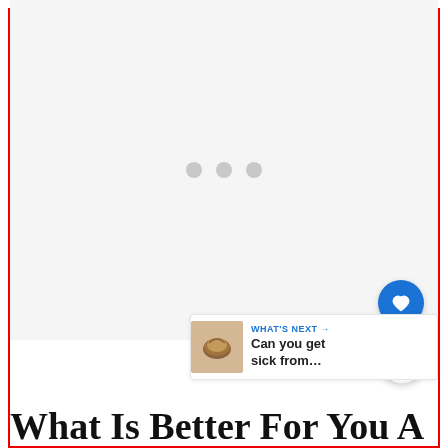[Figure (other): Loading placeholder area with three gray dots centered on light gray background, red border frame around the page]
[Figure (other): Blue circular heart/favorite button]
[Figure (other): White circular share/add button with share icon]
[Figure (other): What's Next widget showing a pecan/nut image with text 'WHAT'S NEXT → Can you get sick from...']
What Is Better For You A